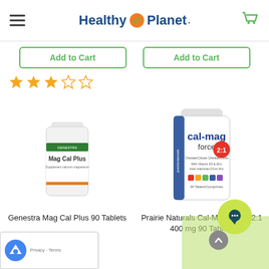Healthy Planet
Add to Cart | Add to Cart
[Figure (other): 3 out of 5 star rating shown with orange/yellow stars]
[Figure (photo): Genestra Mag Cal Plus 90 Tablets supplement bottle]
[Figure (photo): Prairie Naturals Cal-Mag-Force 2:1 400 mg 90 Tablets supplement bottle]
Genestra Mag Cal Plus 90 Tablets
Prairie Naturals Cal-Mag-Force 2:1 400 mg 90 Tablets